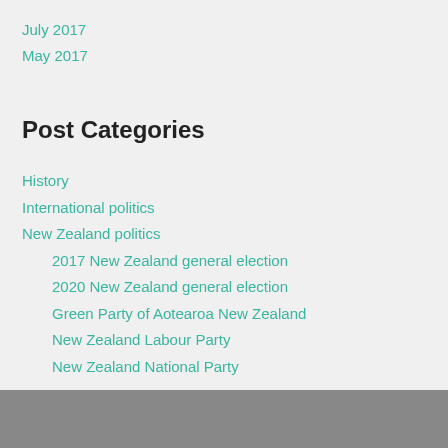July 2017
May 2017
Post Categories
History
International politics
New Zealand politics
2017 New Zealand general election
2020 New Zealand general election
Green Party of Aotearoa New Zealand
New Zealand Labour Party
New Zealand National Party